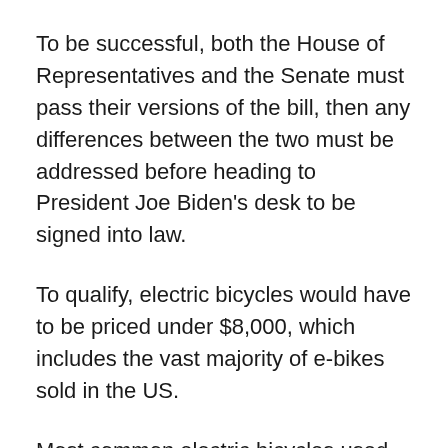To be successful, both the House of Representatives and the Senate must pass their versions of the bill, then any differences between the two must be addressed before heading to President Joe Biden’s desk to be signed into law.
To qualify, electric bicycles would have to be priced under $8,000, which includes the vast majority of e-bikes sold in the US.
Most common electric bicycles used for commuting fall into the $1,000-$3,000 range, while higher end e-bikes from more upscale companies usually cost closer to the $4,000-$6,500 range.
Electric bicycles in Classes 1, 2, and 3 would be eligible